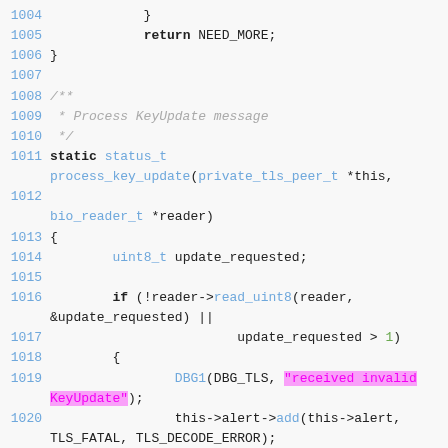[Figure (screenshot): Source code snippet in C showing lines 1004-1022, displaying a process_key_update function with line numbers highlighted in blue on a light gray background. A string literal 'received invalid KeyUpdate' is highlighted in pink/magenta.]